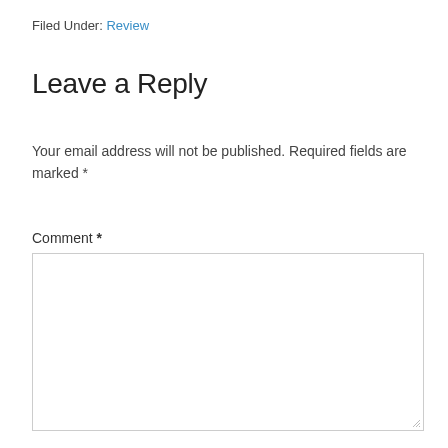Filed Under: Review
Leave a Reply
Your email address will not be published. Required fields are marked *
Comment *